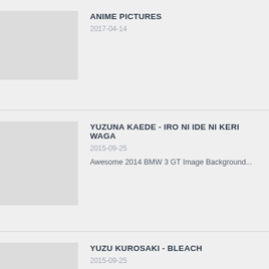ANIME PICTURES
2017-04-14
YUZUNA KAEDE - IRO NI IDE NI KERI WAGA
2015-09-25
Awesome 2014 BMW 3 GT Image Background...
YUZU KUROSAKI - BLEACH
2015-09-25
... Yuzu Kurosaki - Bleach 1366x768 wallpaper